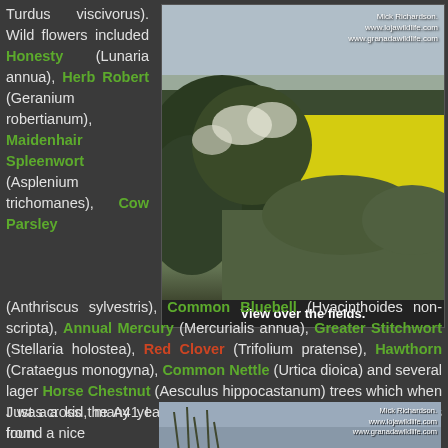Turdus viscivorus). Wild flowers included Honesty (Lunaria annua), Herb Robert (Geranium robertianum), Maidenhair Spleenwort (Asplenium trichomanes), Cow Parsley (Anthriscus sylvestris), Common Bluebell (Hyacinthoides non-scripta), Annual Mercury (Mercurialis annua), Greater Stitchwort (Stellaria holostea), Red Clover (Trifolium pratense), Hawthorn (Crataegus monogyna), Common Nettle (Urtica dioica) and several lager Horse Chestnut (Aesculus hippocastanum) trees which when I was a kid, many years ago I would come and collect Conkers from.
[Figure (photo): View over yellow rapeseed fields with hedgerow in foreground, credited to Mick Richardson, www.lojawildlife.com, www.granadawildlife.com]
View over the fields.
Just across the A41 I found a nice
[Figure (photo): Partial photo at bottom right, credited to Mick Richardson, www.lojawildlife.com, www.granadawildlife.com]